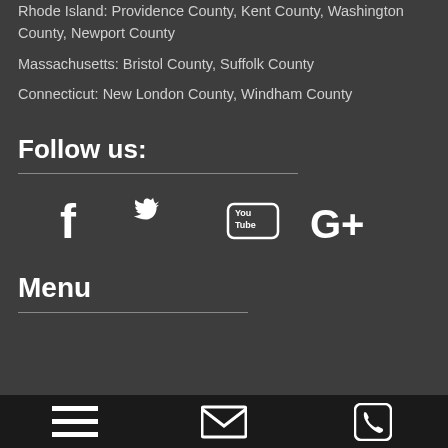Rhode Island: Providence County, Kent County, Washington County, Newport County
Massachusetts: Bristol County, Suffolk County
Connecticut: New London County, Windham County
Follow us:
[Figure (infographic): Social media icons: Facebook, Twitter, YouTube, Google+]
Menu
[Figure (infographic): Bottom navigation bar with hamburger menu icon, email/envelope icon, and phone icon]